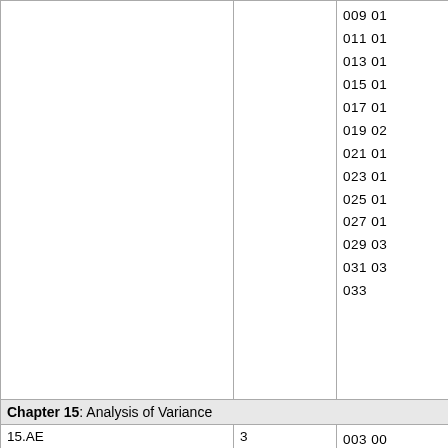|  |  |  |
| --- | --- | --- |
|  |  | 009 01
011 01
013 01
015 01
017 01
019 02
021 01
023 01
025 01
027 01
029 03
031 03
033 |
| Chapter 15: Analysis of Variance |  |  |
| 15.AE | 3 | 003 00
005 |